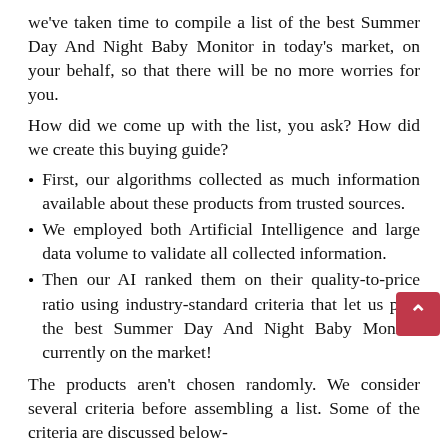we've taken time to compile a list of the best Summer Day And Night Baby Monitor in today's market, on your behalf, so that there will be no more worries for you.
How did we come up with the list, you ask? How did we create this buying guide?
First, our algorithms collected as much information available about these products from trusted sources.
We employed both Artificial Intelligence and large data volume to validate all collected information.
Then our AI ranked them on their quality-to-price ratio using industry-standard criteria that let us pick the best Summer Day And Night Baby Monitor currently on the market!
The products aren't chosen randomly. We consider several criteria before assembling a list. Some of the criteria are discussed below-
1. Brand Value: What happens when...